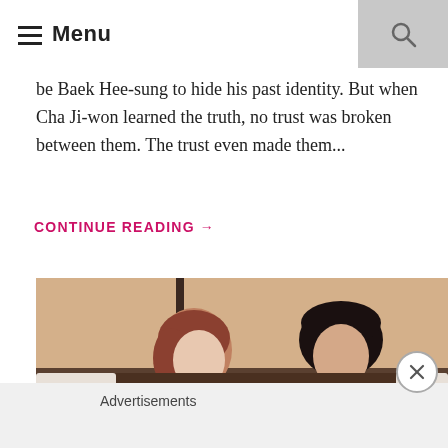Menu
be Baek Hee-sung to hide his past identity. But when Cha Ji-won learned the truth, no trust was broken between them. The trust even made them...
CONTINUE READING →
[Figure (photo): Two Korean drama actors — a woman with reddish-brown hair in a gray blazer and a man with black hair in a dark hoodie — sitting indoors in a warm-lit setting.]
Advertisements